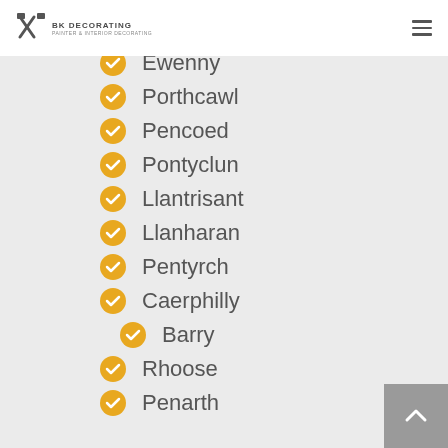BK Decorating
Ewenny
Porthcawl
Pencoed
Pontyclun
Llantrisant
Llanharan
Pentyrch
Caerphilly
Barry
Rhoose
Penarth